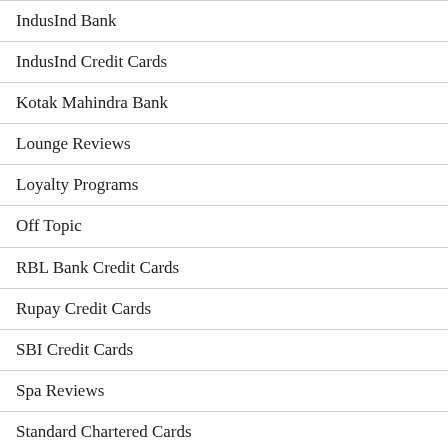IndusInd Bank
IndusInd Credit Cards
Kotak Mahindra Bank
Lounge Reviews
Loyalty Programs
Off Topic
RBL Bank Credit Cards
Rupay Credit Cards
SBI Credit Cards
Spa Reviews
Standard Chartered Cards
Travel Hacking
Yes Bank